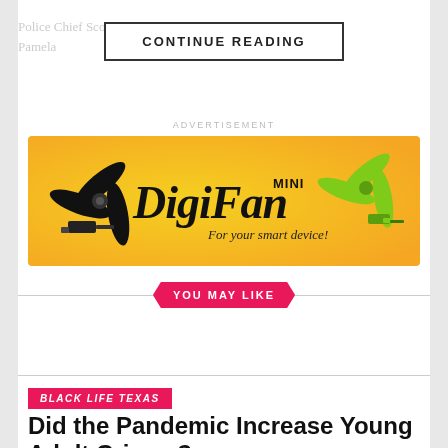Police Chief Scott Smith and three others charge Pamela... reward and
CONTINUE READING
ADVERTISEMENT
[Figure (photo): DigiFan Mini advertisement banner — orange/yellow gradient background with a mini fan product. Text reads 'DigiFan MINI For your smart device!']
YOU MAY LIKE
BLACK LIFE TEXAS
Did the Pandemic Increase Young Adult Crimes?